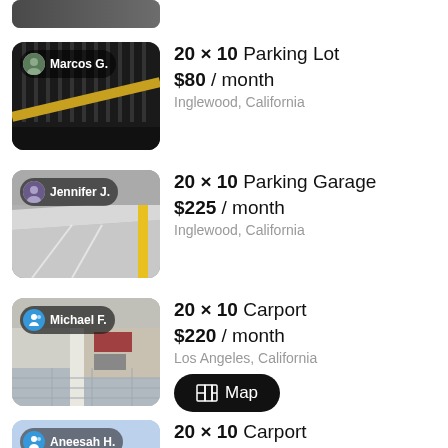[Figure (screenshot): Partial top image strip of a parking listing thumbnail]
Marcos G. — 20 × 10 Parking Lot, $80 / month, Inglewood, California
Jennifer J. — 20 × 10 Parking Garage, $225 / month, Inglewood, California
Michael F. — 20 × 10 Carport, $220 / month, Los Angeles, California
Aneesah H. — 20 × 10 Carport